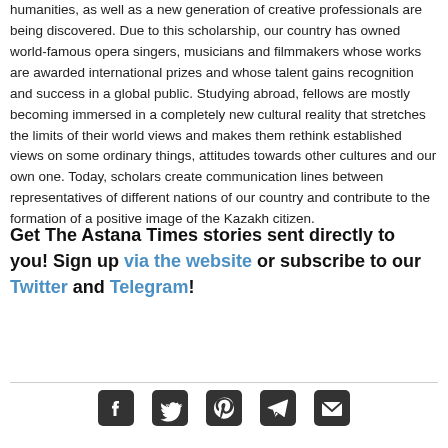humanities, as well as a new generation of creative professionals are being discovered. Due to this scholarship, our country has owned world-famous opera singers, musicians and filmmakers whose works are awarded international prizes and whose talent gains recognition and success in a global public. Studying abroad, fellows are mostly becoming immersed in a completely new cultural reality that stretches the limits of their world views and makes them rethink established views on some ordinary things, attitudes towards other cultures and our own one. Today, scholars create communication lines between representatives of different nations of our country and contribute to the formation of a positive image of the Kazakh citizen.
Get The Astana Times stories sent directly to you! Sign up via the website or subscribe to our Twitter and Telegram!
[Figure (other): Social media share icons: Facebook, Twitter, Pinterest, Telegram, Email]